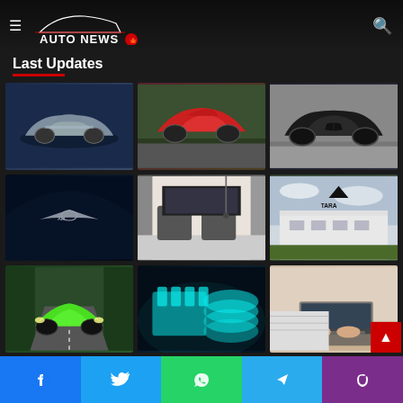AUTO NEWS
Last Updates
[Figure (photo): Silver futuristic sports car front view on dark background]
[Figure (photo): Red Alfa Romeo sports car on road]
[Figure (photo): Dark luxury sedan BMW/Rolls Royce style on road]
[Figure (photo): Aston Martin logo on dark blue car hood]
[Figure (photo): Vehicle interior/cabin with seats and equipment]
[Figure (photo): TARA building exterior with logo]
[Figure (photo): Green Audi RS car on road in forest]
[Figure (photo): Cyan/teal 3D engine and tires rendering]
[Figure (photo): Person typing on laptop keyboard]
Facebook Twitter WhatsApp Telegram Phone